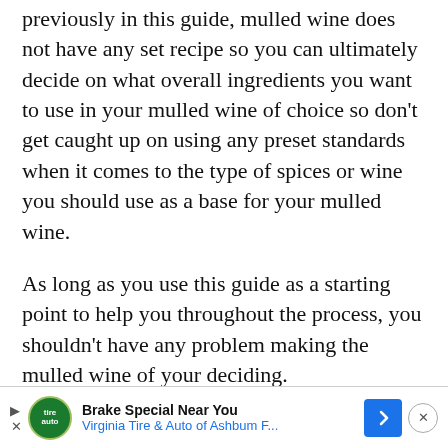previously in this guide, mulled wine does not have any set recipe so you can ultimately decide on what overall ingredients you want to use in your mulled wine of choice so don't get caught up on using any preset standards when it comes to the type of spices or wine you should use as a base for your mulled wine.
As long as you use this guide as a starting point to help you throughout the process, you shouldn't have any problem making the mulled wine of your deciding.
[Figure (infographic): Advertisement bar at bottom of page: Brake Special Near You - Virginia Tire & Auto of Ashbum F...]